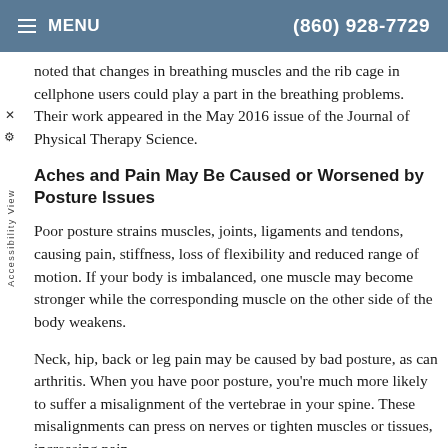≡ MENU   (860) 928-7729
noted that changes in breathing muscles and the rib cage in cellphone users could play a part in the breathing problems. Their work appeared in the May 2016 issue of the Journal of Physical Therapy Science.
Aches and Pain May Be Caused or Worsened by Posture Issues
Poor posture strains muscles, joints, ligaments and tendons, causing pain, stiffness, loss of flexibility and reduced range of motion. If your body is imbalanced, one muscle may become stronger while the corresponding muscle on the other side of the body weakens.
Neck, hip, back or leg pain may be caused by bad posture, as can arthritis. When you have poor posture, you're much more likely to suffer a misalignment of the vertebrae in your spine. These misalignments can press on nerves or tighten muscles or tissues, increasing pain.